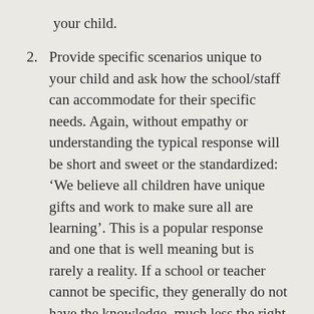your child.
2. Provide specific scenarios unique to your child and ask how the school/staff can accommodate for their specific needs. Again, without empathy or understanding the typical response will be short and sweet or the standardized: ‘We believe all children have unique gifts and work to make sure all are learning’. This is a popular response and one that is well meaning but is rarely a reality. If a school or teacher cannot be specific, they generally do not have the knowledge, much less the right empathetic approach, necessary to consistently reach your child.
There are many more questions that can be asked but a few pointed questions can reveal the schools